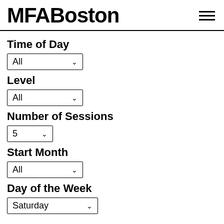MFABoston
Time of Day
All
Level
All
Number of Sessions
5
Start Month
All
Day of the Week
Saturday